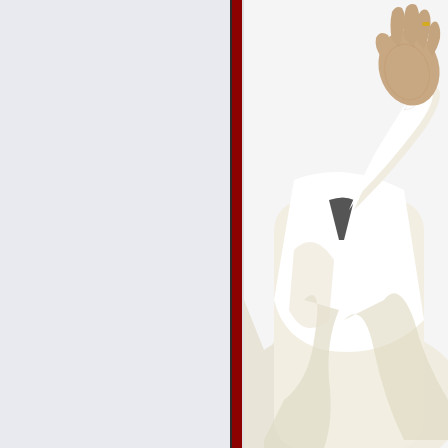[Figure (photo): A two-panel layout. Left side: plain light blue-gray background. Center: a vertical divider composed of a thin dark line, a thick dark red/crimson stripe, and a thin light line. Right side: a white background with a photo of a person dressed in white papal or ceremonial robes and a white jacket, with their right arm raised and hand open in a waving gesture. The face is not visible — only the arm, hand, torso, and flowing white/cream garments are shown.]